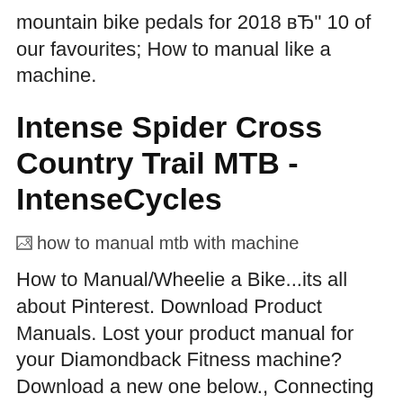mountain bike pedals for 2018 вЂ" 10 of our favourites; How to manual like a machine.
Intense Spider Cross Country Trail MTB - IntenseCycles
[Figure (photo): Broken image placeholder with alt text: how to manual mtb with machine]
How to Manual/Wheelie a Bike...its all about Pinterest. Download Product Manuals. Lost your product manual for your Diamondback Fitness machine? Download a new one below., Connecting your fax machine to your network lets you fa i t tal t d